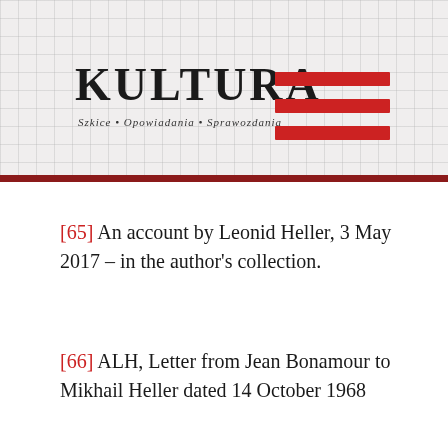[Figure (logo): KULTURA magazine logo with subtitle 'Szkice • Opowiadania • Sprawozdania' and red hamburger menu bars on a grid-patterned background]
[65] An account by Leonid Heller, 3 May 2017 – in the author's collection.
[66] ALH, Letter from Jean Bonamour to Mikhail Heller dated 14 October 1968